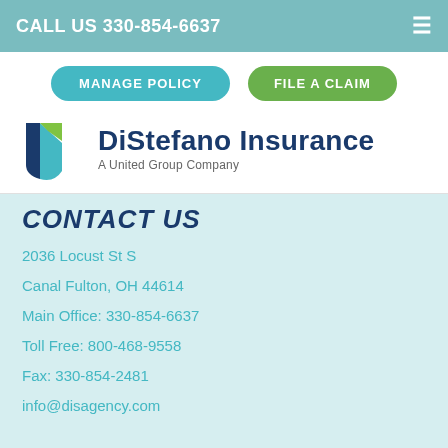CALL US 330-854-6637
MANAGE POLICY
FILE A CLAIM
[Figure (logo): DiStefano Insurance logo with shield icon in blue, cyan, and green. Text: DiStefano Insurance, A United Group Company.]
CONTACT US
2036 Locust St S
Canal Fulton, OH 44614
Main Office: 330-854-6637
Toll Free: 800-468-9558
Fax: 330-854-2481
info@disagency.com